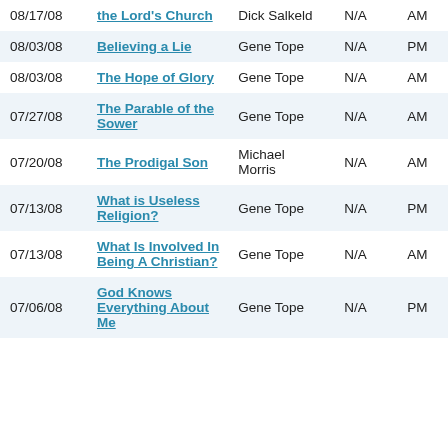| Date | Title | Speaker |  |  |
| --- | --- | --- | --- | --- |
| 08/17/08 | the Lord's Church | Dick Salkeld | N/A | AM |
| 08/03/08 | Believing a Lie | Gene Tope | N/A | PM |
| 08/03/08 | The Hope of Glory | Gene Tope | N/A | AM |
| 07/27/08 | The Parable of the Sower | Gene Tope | N/A | AM |
| 07/20/08 | The Prodigal Son | Michael Morris | N/A | AM |
| 07/13/08 | What is Useless Religion? | Gene Tope | N/A | PM |
| 07/13/08 | What Is Involved In Being A Christian? | Gene Tope | N/A | AM |
| 07/06/08 | God Knows Everything About Me | Gene Tope | N/A | PM |